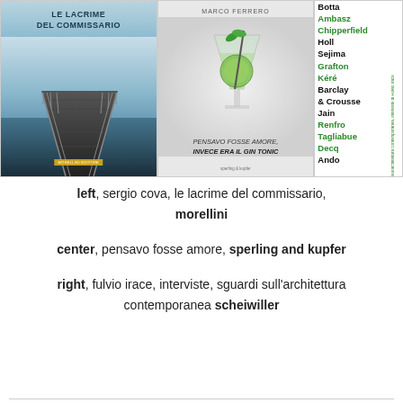[Figure (photo): Left book cover: 'Le Lacrime del Commissario' by Sergio Cova, showing a wooden pier extending over a lake, published by Morellini]
[Figure (photo): Center book cover: 'Pensavo Fosse Amore, Invece Era il Gin Tonic' by Marco Ferrero, showing a cocktail with lime, published by Sperling & Kupfer]
[Figure (photo): Right book cover: Architecture interviews book by Fulvio Irace, 'Interviste, Sguardi sull'Architettura Contemporanea', published by Scheiwiller, listing architects: Botta, Ambasz, Chipperfield, Holl, Sejima, Grafton, Kéré, Barclay & Crousse, Jain, Renfro, Tagliabue, Decq, Ando]
left, sergio cova, le lacrime del commissario, morellini
center, pensavo fosse amore, sperling and kupfer
right, fulvio irace, interviste, sguardi sull'architettura contemporanea scheiwiller